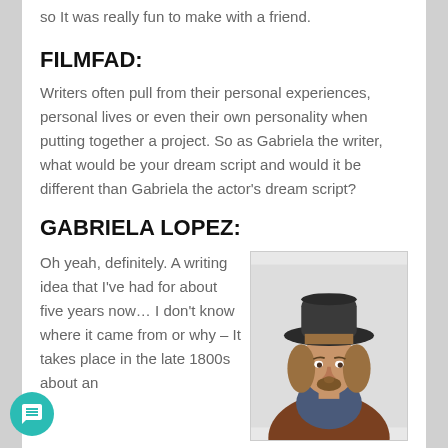so It was really fun to make with a friend.
FILMFAD:
Writers often pull from their personal experiences, personal lives or even their own personality when putting together a project. So as Gabriela the writer, what would be your dream script and would it be different than Gabriela the actor's dream script?
GABRIELA LOPEZ:
Oh yeah, definitely. A writing idea that I've had for about five years now… I don't know where it came from or why – It takes place in the late 1800s about an
[Figure (photo): Photo of a man with long dark blonde hair wearing a black wide-brim hat and brown jacket]